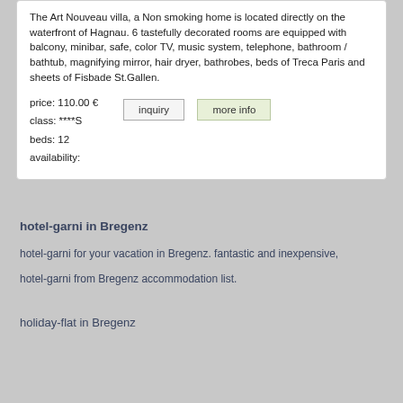The Art Nouveau villa, a Non smoking home is located directly on the waterfront of Hagnau. 6 tastefully decorated rooms are equipped with balcony, minibar, safe, color TV, music system, telephone, bathroom / bathtub, magnifying mirror, hair dryer, bathrobes, beds of Treca Paris and sheets of Fisbade St.Gallen.
price: 110.00 €
class: ****S
beds: 12
availability:
inquiry   more info
hotel-garni in Bregenz
hotel-garni for your vacation in Bregenz. fantastic and inexpensive,
hotel-garni from Bregenz accommodation list.
holiday-flat in Bregenz